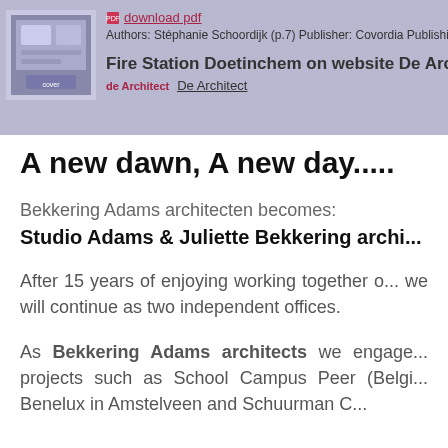[Figure (screenshot): Thumbnail image of a book or publication cover with blue tones]
download pdf
Authors: Stéphanie Schoordijk (p.7) Publisher: Covordia Publishi...
Fire Station Doetinchem on website De Architect
De Architect
A new dawn, A new day.....
Bekkering Adams architecten becomes:
Studio Adams & Juliette Bekkering archi...
After 15 years of enjoying working together o... we will continue as two independent offices.
As Bekkering Adams architects we engage... projects such as School Campus Peer (Belgi... Benelux in Amstelveen and Schuurman C...